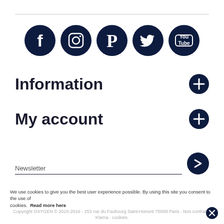[Figure (illustration): Row of five dark navy circular social media icons: Facebook, Instagram, Pinterest, Twitter, YouTube]
Information
My account
Newsletter
We use cookies to give you the best user experience possible. By using this site you consent to the use of cookies. Read more here
Copyright OXYGEN © 2015-2016 - 253 rue du Faubourg Saint-Honoré 75008 Paris - Nos contrats - Klarna - cookies.